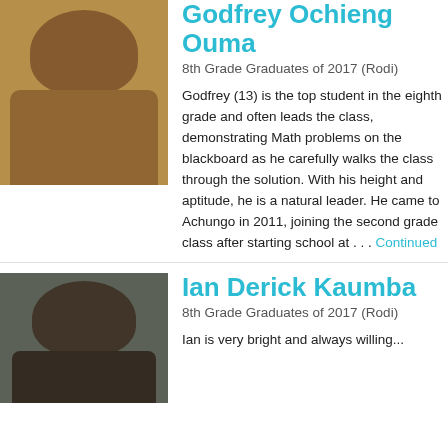[Figure (photo): Portrait photo of Godfrey Ochieng Ouma, a young male student wearing a brown checkered shirt and tie, against a yellow wall background.]
Godfrey Ochieng Ouma
8th Grade Graduates of 2017 (Rodi)
Godfrey (13) is the top student in the eighth grade and often leads the class, demonstrating Math problems on the blackboard as he carefully walks the class through the solution. With his height and aptitude, he is a natural leader. He came to Achungo in 2011, joining the second grade class after starting school at . . . Continued
[Figure (photo): Portrait photo of Ian Derick Kaumba, a young male student, against a grey background.]
Ian Derick Kaumba
8th Grade Graduates of 2017 (Rodi)
Ian is very bright and always willing...